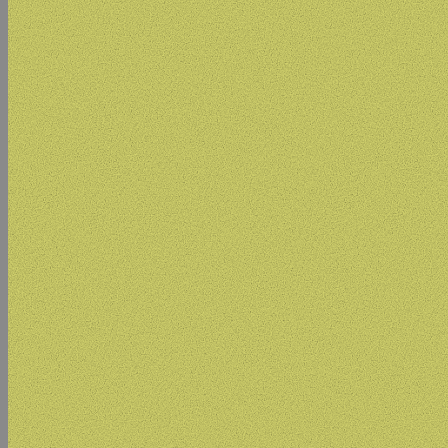[Figure (photo): Top photo showing close-up of stone or brick architectural detail, partially visible at top of right column]
The Khans of Khiva competed in a part of the old town, especially the buildings. The bazaar was located
[Figure (photo): Aerial/elevated view of Khiva old town cityscape showing historic Islamic architecture, minarets, domes, and mud-brick buildings under a pale blue sky]